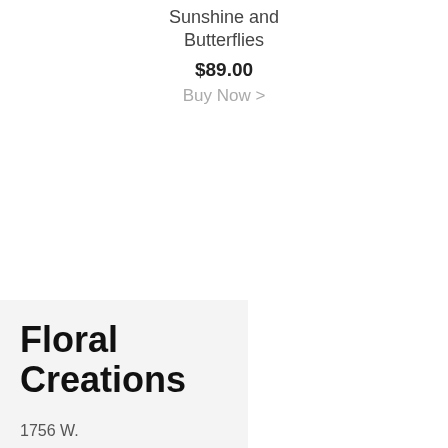Sunshine and Butterflies
$89.00
Buy Now >
Floral Creations
1756 W.
Cherry